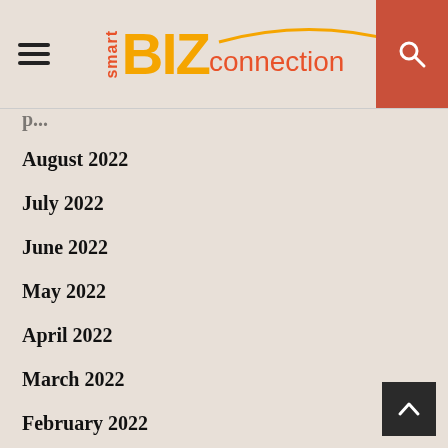[Figure (logo): Smart BIZ Connection logo with hamburger menu icon on left and search button on right]
August 2022
July 2022
June 2022
May 2022
April 2022
March 2022
February 2022
January 2022
December 2021
November 2021
October 2021
September 2021
August 2021